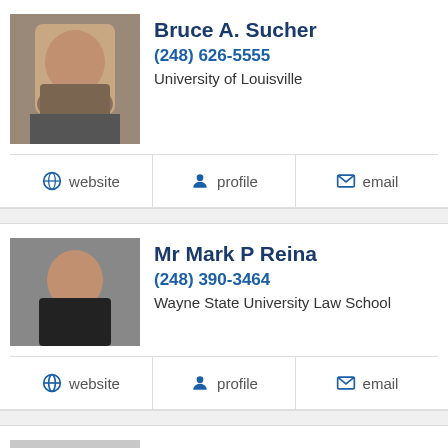[Figure (photo): Headshot photo of Bruce A. Sucher]
Bruce A. Sucher
(248) 626-5555
University of Louisville
website | profile | email
[Figure (photo): Headshot photo of Mr Mark P Reina]
Mr Mark P Reina
(248) 390-3464
Wayne State University Law School
website | profile | email
[Figure (photo): Placeholder silhouette for Steven A Harms]
Steven A Harms
(248) 645-2440
website | profile | email